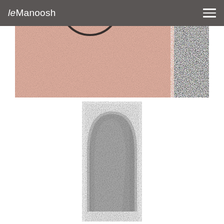leManoosh
[Figure (photo): Close-up of pink leather/suede texture material with a circular ring detail at top left, and a vertical strip of black/dark sparkly or metallic textured fabric on the right side]
[Figure (photo): White background with a black and white marled/knitted fabric object (possibly a beanie hat or knit tube) centered in the lower portion of the frame, showing chunky textured knit pattern]